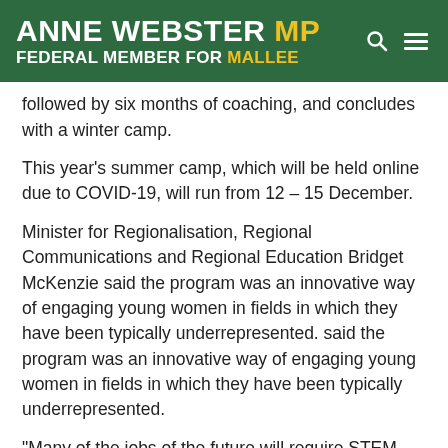ANNE WEBSTER MP FEDERAL MEMBER FOR MALLEE
followed by six months of coaching, and concludes with a winter camp.
This year's summer camp, which will be held online due to COVID-19, will run from 12 – 15 December.
Minister for Regionalisation, Regional Communications and Regional Education Bridget McKenzie said the program was an innovative way of engaging young women in fields in which they have been typically underrepresented. said the program was an innovative way of engaging young women in fields in which they have been typically underrepresented.
“Many of the jobs of the future will require STEM skills, and we want to make sure girls are not just able